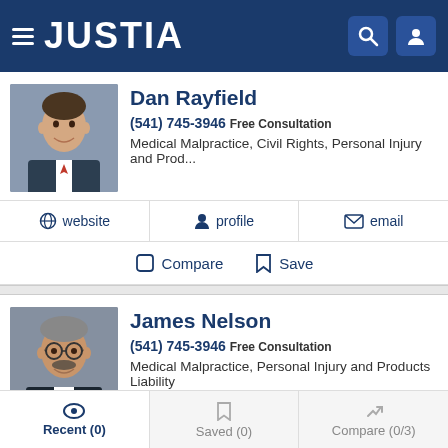JUSTIA
Dan Rayfield
(541) 745-3946 Free Consultation
Medical Malpractice, Civil Rights, Personal Injury and Prod...
website | profile | email
Compare | Save
James Nelson
(541) 745-3946 Free Consultation
Medical Malpractice, Personal Injury and Products Liability
website | profile | email
Recent (0) | Saved (0) | Compare (0/3)